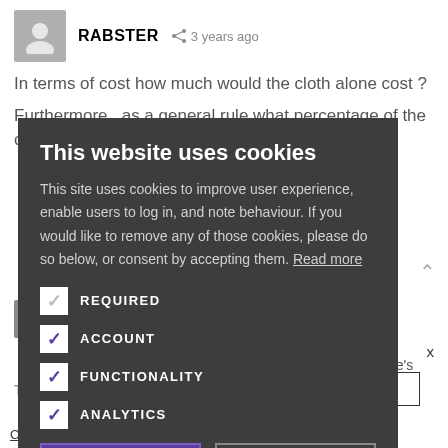[Figure (screenshot): Background webpage showing a comment thread with user 'RABSTER', text about cloth cost, and partially visible reply from Simon Crompton. A cookie consent overlay covers most of the page.]
This website uses cookies
This site uses cookies to improve user experience, enable users to log in, and note behaviour. If you would like to remove any of those cookies, please do so below, or consent by accepting them. Read more
REQUIRED
ACCOUNT
FUNCTIONALITY
ANALYTICS
ACCEPT ALL
DECLINE ALL
Click here to read our Privacy Policy